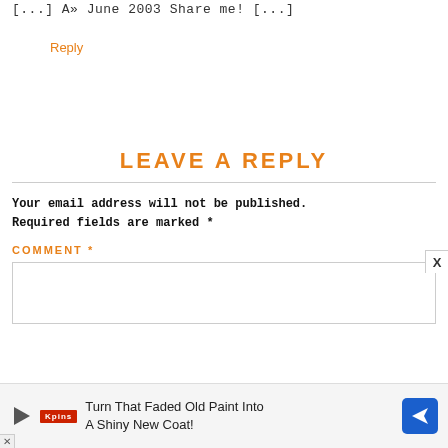[...] A» June 2003 Share me! [...]
Reply
LEAVE A REPLY
Your email address will not be published. Required fields are marked *
COMMENT *
[Figure (screenshot): Empty comment text area input box]
[Figure (infographic): Ad banner: Turn That Faded Old Paint Into A Shiny New Coat!]